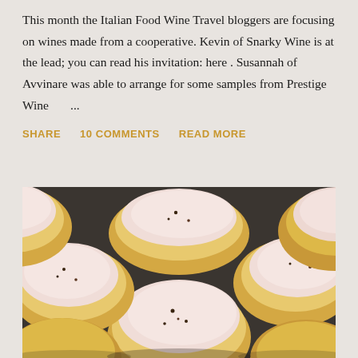This month the Italian Food Wine Travel bloggers are focusing on wines made from a cooperative. Kevin of Snarky Wine is at the lead; you can read his invitation: here . Susannah of Avvinare was able to arrange for some samples from Prestige Wine ...
SHARE
10 COMMENTS
READ MORE
[Figure (photo): Close-up photo of multiple round cookies/biscuits with pale pink/white frosting and small dark spice flecks on top, arranged on a dark baking tray.]